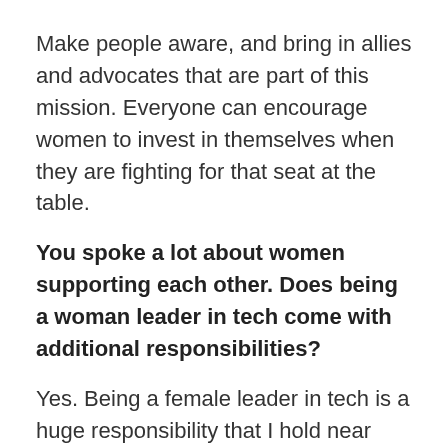Make people aware, and bring in allies and advocates that are part of this mission. Everyone can encourage women to invest in themselves when they are fighting for that seat at the table.
You spoke a lot about women supporting each other. Does being a woman leader in tech come with additional responsibilities?
Yes. Being a female leader in tech is a huge responsibility that I hold near and dear. Paving the way for others is what I owe to those who paved the way before me. Being a